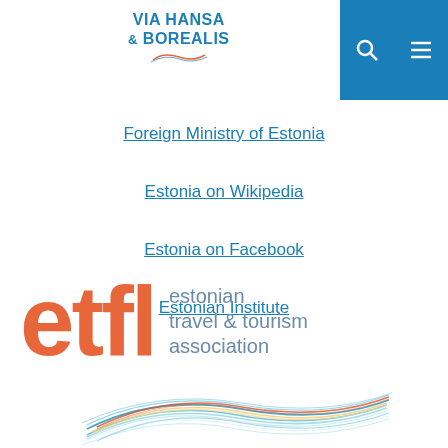[Figure (logo): Via Hansa & Borealis logo with stylized swirl, blue text]
[Figure (logo): Blue search icon button and blue menu/hamburger icon button in top right]
Foreign Ministry of Estonia
Estonia on Wikipedia
Estonia on Facebook
Estonian Institute
[Figure (logo): ETFL - Estonian Travel & Tourism Association logo with orange etfl letters and grey-blue text, with colorful wave/ribbon swirl graphic below]
[Figure (illustration): Colorful ribbon/wave design in blues, oranges, red]